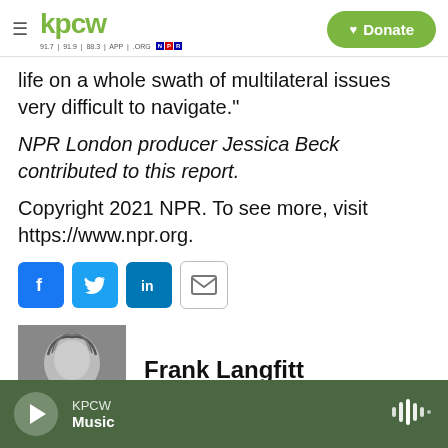KPCW | 91.7 | 91.9 | 88.3 | APP | .ORG | Donate
life on a whole swath of multilateral issues very difficult to navigate."
NPR London producer Jessica Beck contributed to this report.
Copyright 2021 NPR. To see more, visit https://www.npr.org.
[Figure (infographic): Social sharing buttons: Facebook (blue), Twitter (blue), LinkedIn (blue), Email (outlined)]
[Figure (photo): Black and white portrait photo of Frank Langfitt]
Frank Langfitt
KPCW | Music | Play button | Audio wave icon